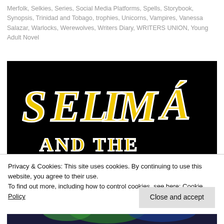Merfolk, Selkies, Series, Social Media Platforms, Spells, Storybook, Synopsis, Trinidad and Tobago, trophies, Unicorns, Vampires, Vanessa Salazar, Warlocks, Werewolves, Writers Diary, WRITERS UNION, Young Adult Novel
[Figure (photo): Book cover for 'Selima and the Merfolk' with large decorative yellow and white gothic-style lettering on a black background, with colorful illustrated characters at the bottom.]
Privacy & Cookies: This site uses cookies. By continuing to use this website, you agree to their use.
To find out more, including how to control cookies, see here: Cookie Policy